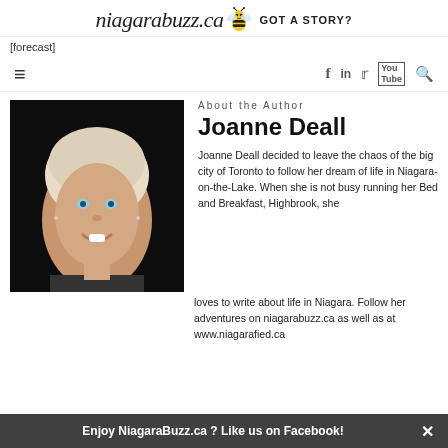niagarabuzz.ca GOT A STORY?
[forecast]
[Figure (photo): Navigation bar with hamburger menu icon on left and social media icons (Facebook, LinkedIn, Twitter, YouTube, Search) on right]
[Figure (photo): Portrait photo of Joanne Deall — woman with short blonde hair, smiling, against dark background]
About the Author
Joanne Deall
Joanne Deall decided to leave the chaos of the big city of Toronto to follow her dream of life in Niagara-on-the-Lake. When she is not busy running her Bed and Breakfast, Highbrook, she loves to write about life in Niagara. Follow her adventures on niagarabuzz.ca as well as at www.niagarafied.ca
Enjoy NiagaraBuzz.ca ? Like us on Facebook!